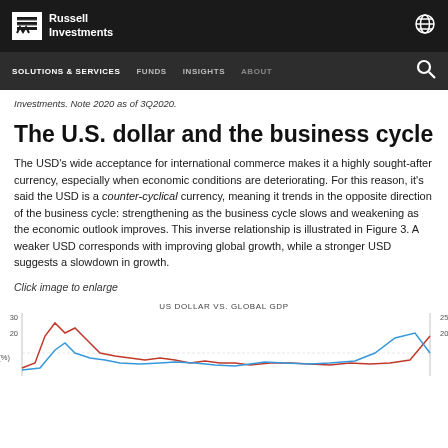Russell Investments
SOLUTIONS & SERVICES   FUNDS   INSIGHTS   ABOUT
Investments. Note 2020 as of 3Q2020.
The U.S. dollar and the business cycle
The USD's wide acceptance for international commerce makes it a highly sought-after currency, especially when economic conditions are deteriorating. For this reason, it's said the USD is a counter-cyclical currency, meaning it trends in the opposite direction of the business cycle: strengthening as the business cycle slows and weakening as the economic outlook improves. This inverse relationship is illustrated in Figure 3. A weaker USD corresponds with improving global growth, while a stronger USD suggests a slowdown in growth.
Click image to enlarge
[Figure (line-chart): Partially visible line chart showing US Dollar vs Global GDP, with red and blue lines, y-axis labels around -20 to 30]